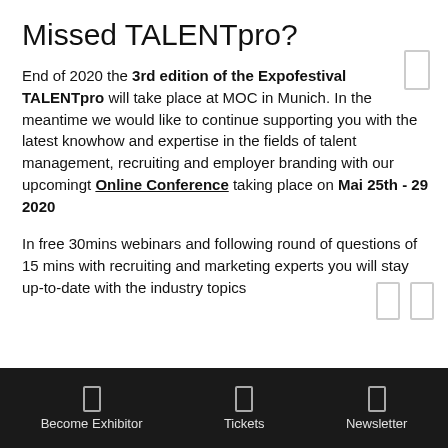Missed TALENTpro?
End of 2020 the 3rd edition of the Expofestival TALENTpro will take place at MOC in Munich. In the meantime we would like to continue supporting you with the latest knowhow and expertise in the fields of talent management, recruiting and employer branding with our upcomingt Online Conference taking place on Mai 25th - 29 2020
In free 30mins webinars and following round of questions of 15 mins with recruiting and marketing experts you will stay up-to-date with the industry topics
Become Exhibitor   Tickets   Newsletter